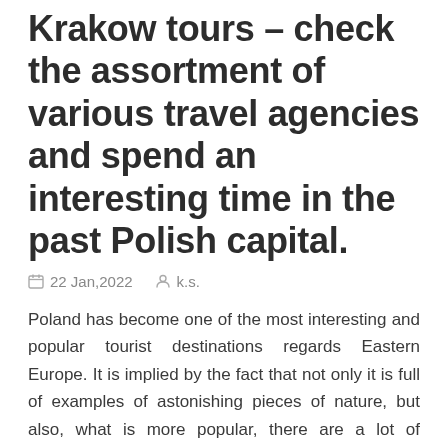Krakow tours – check the assortment of various travel agencies and spend an interesting time in the past Polish capital.
22 Jan,2022   k.s.
Poland has become one of the most interesting and popular tourist destinations regards Eastern Europe. It is implied by the fact that not only it is full of examples of astonishing pieces of nature, but also, what is more popular, there are a lot of interesting buildings there.
READ MORE